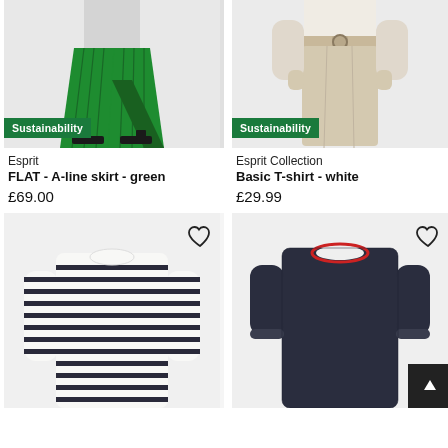[Figure (photo): Green pleated A-line skirt with black sandals, sustainability badge]
Esprit
FLAT - A-line skirt - green
£69.00
[Figure (photo): Beige wide-leg trousers with belt, sustainability badge]
Esprit Collection
Basic T-shirt - white
£29.99
[Figure (photo): White and navy striped long-sleeve top, heart/wishlist icon]
[Figure (photo): Dark navy 3/4 sleeve top with red trim, heart/wishlist icon, back-to-top button]